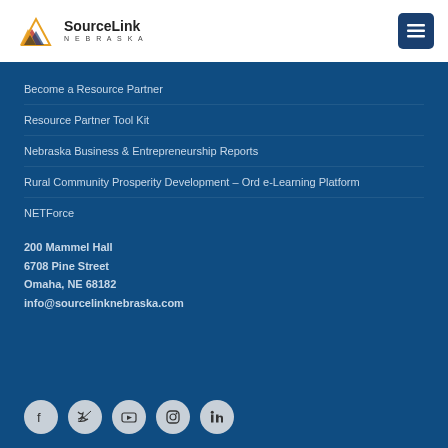[Figure (logo): SourceLink Nebraska logo with triangle/mountain icon]
Become a Resource Partner
Resource Partner Tool Kit
Nebraska Business & Entrepreneurship Reports
Rural Community Prosperity Development – Ord e-Learning Platform
NETForce
200 Mammel Hall
6708 Pine Street
Omaha, NE 68182
info@sourcelinknebraska.com
[Figure (infographic): Social media icons: Facebook, Twitter, YouTube, Instagram, LinkedIn]